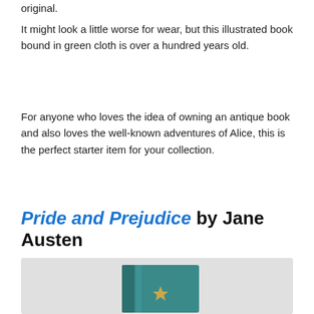original.
It might look a little worse for wear, but this illustrated book bound in green cloth is over a hundred years old.
For anyone who loves the idea of owning an antique book and also loves the well-known adventures of Alice, this is the perfect starter item for your collection.
Pride and Prejudice by Jane Austen
[Figure (photo): A small teal/green leather-bound book with a gold decorative emblem on the cover, photographed on a light grey background.]